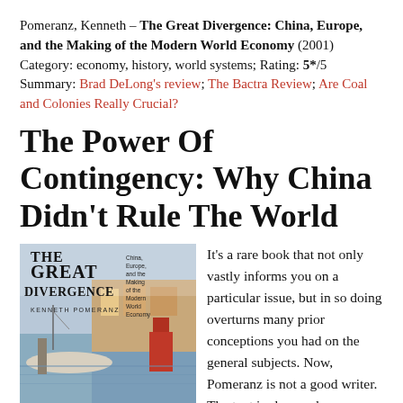Pomeranz, Kenneth – The Great Divergence: China, Europe, and the Making of the Modern World Economy (2001)
Category: economy, history, world systems; Rating: 5*/5
Summary: Brad DeLong's review; The Bactra Review; Are Coal and Colonies Really Crucial?
The Power Of Contingency: Why China Didn't Rule The World
[Figure (photo): Book cover of The Great Divergence by Kenneth Pomeranz, showing title text and a harbor scene with boats]
It's a rare book that not only vastly informs you on a particular issue, but in so doing overturns many prior conceptions you had on the general subjects. Now, Pomeranz is not a good writer. The text is slow and